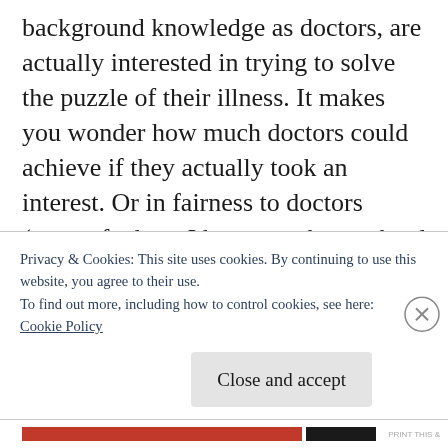background knowledge as doctors, are actually interested in trying to solve the puzzle of their illness. It makes you wonder how much doctors could achieve if they actually took an interest. Or in fairness to doctors (most of whom I know work very hard doing what they do), if the system allowed them to take an interest.
I've only been using WordPress a few months and it seems to be a very good
Privacy & Cookies: This site uses cookies. By continuing to use this website, you agree to their use.
To find out more, including how to control cookies, see here:
Cookie Policy
Close and accept